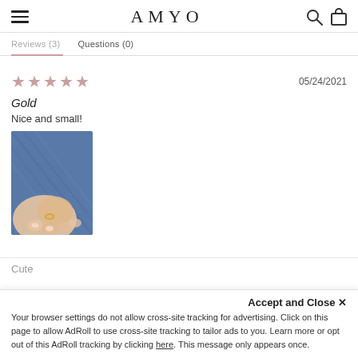AMYO
Reviews (3)   Questions (0)
★★★★★  05/24/2021
Gold
Nice and small!
[Figure (photo): Photo of a hand wearing a small gold ring, held against denim fabric]
Care
Accept and Close ✕
Your browser settings do not allow cross-site tracking for advertising. Click on this page to allow AdRoll to use cross-site tracking to tailor ads to you. Learn more or opt out of this AdRoll tracking by clicking here. This message only appears once.